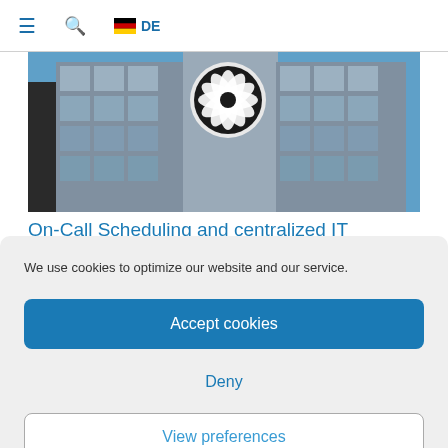≡  🔍  🇩🇪 DE
[Figure (photo): Exterior photo of a modern glass office building with a large circular decorative element (turbine/fan design) on the facade, blue sky background.]
On-Call Scheduling and centralized IT
We use cookies to optimize our website and our service.
Accept cookies
Deny
View preferences
Cookie Policy   Privacy policy